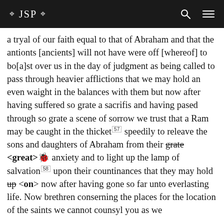❖ JSP ❖
a tryal of our faith equal to that of Abraham and that the antionts [ancients] will not have were off [whereof] to bo[a]st over us in the day of judgment as being called to pass through heavier afflictions that we may hold an even waight in the balances with them but now after having suffered so grate a sacrifis and having pased through so grate a scene of sorrow we trust that a Ram may be caught in the thicket [57] speedily to releave the sons and daughters of Abraham from their grate <great> anxiety and to light up the lamp of salvation [58] upon their countinances that they may hold up <on> now after having gone so far unto ever lasting life. Now brethren conserning the places for the location of the saints we cannot counsyl you as we